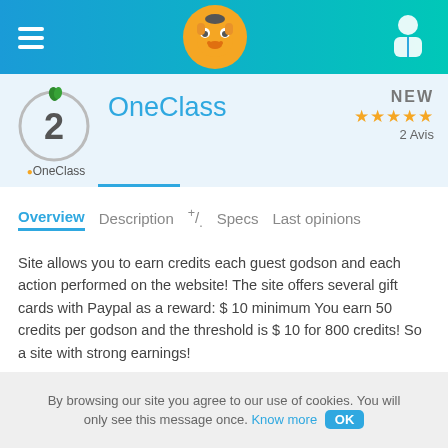[Figure (screenshot): FoxyRating app mobile navigation bar with hamburger menu, fox logo, and user icon on blue-teal gradient background]
[Figure (logo): OneClass app icon: number 2 in a circle with apple/leaf decoration above, and OneClass text below]
OneClass
NEW
★★★★★
2 Avis
Overview   Description   +/.   Specs   Last opinions
Site allows you to earn credits each guest godson and each action performed on the website! The site offers several gift cards with Paypal as a reward: $ 10 minimum You earn 50 credits per godson and the threshold is $ 10 for 800 credits! So a site with strong earnings!
Payments reported on FoxyRating
By browsing our site you agree to our use of cookies. You will only see this message once. Know more OK